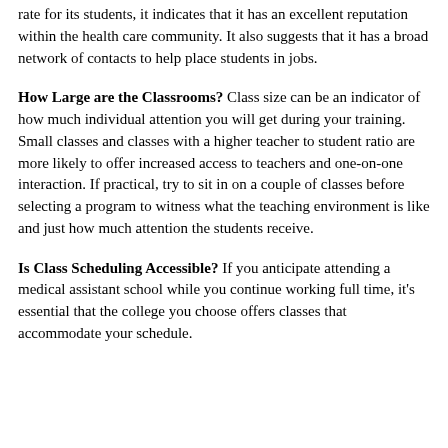rate for its students, it indicates that it has an excellent reputation within the health care community. It also suggests that it has a broad network of contacts to help place students in jobs.
How Large are the Classrooms? Class size can be an indicator of how much individual attention you will get during your training. Small classes and classes with a higher teacher to student ratio are more likely to offer increased access to teachers and one-on-one interaction. If practical, try to sit in on a couple of classes before selecting a program to witness what the teaching environment is like and just how much attention the students receive.
Is Class Scheduling Accessible? If you anticipate attending a medical assistant school while you continue working full time, it's essential that the college you choose offers classes that accommodate your schedule.